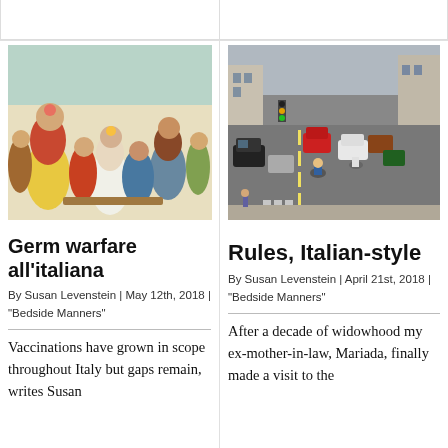[Figure (illustration): Partial top of a card with white background, top border visible]
[Figure (illustration): Partial top of a second card with white background, top border visible]
[Figure (illustration): Historical colorful painting depicting a crowded indoor scene with figures in period costume]
Germ warfare all'italiana
By Susan Levenstein | May 12th, 2018 | "Bedside Manners"
Vaccinations have grown in scope throughout Italy but gaps remain, writes Susan
[Figure (photo): Aerial/elevated photo of heavy traffic congestion on an Italian city street with cars and motorcycles]
Rules, Italian-style
By Susan Levenstein | April 21st, 2018 | "Bedside Manners"
After a decade of widowhood my ex-mother-in-law, Mariada, finally made a visit to the